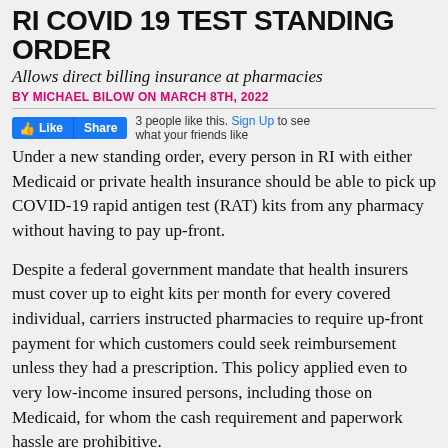RI COVID 19 TEST STANDING ORDER
Allows direct billing insurance at pharmacies
BY MICHAEL BILOW ON MARCH 8TH, 2022
3 people like this. Sign Up to see what your friends like
Under a new standing order, every person in RI with either Medicaid or private health insurance should be able to pick up COVID-19 rapid antigen test (RAT) kits from any pharmacy without having to pay up-front.
Despite a federal government mandate that health insurers must cover up to eight kits per month for every covered individual, carriers instructed pharmacies to require up-front payment for which customers could seek reimbursement unless they had a prescription. This policy applied even to very low-income insured persons, including those on Medicaid, for whom the cash requirement and paperwork hassle are prohibitive.
As we
[Figure (other): Document preview showing RI standing order with seal/logo and title 'Standing Order for All Rhode Island Pharmacies']